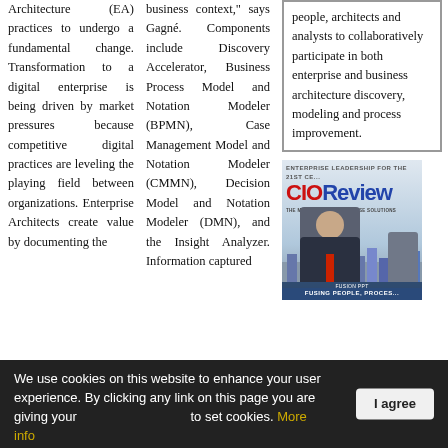Architecture (EA) practices to undergo a fundamental change. Transformation to a digital enterprise is being driven by market pressures because competitive digital practices are leveling the playing field between organizations. Enterprise Architects create value by documenting the
business context," says Gagné. Components include Discovery Accelerator, Business Process Model and Notation Modeler (BPMN), Case Management Model and Notation Modeler (CMMN), Decision Model and Notation Modeler (DMN), and the Insight Analyzer. Information captured
people, architects and analysts to collaboratively participate in both enterprise and business architecture discovery, modeling and process improvement.
[Figure (photo): CIOReview magazine cover featuring a person in a suit with the FUSION PPT branding and city skyline background]
We use cookies on this website to enhance your user experience. By clicking any link on this page you are giving your consent to set cookies. More info